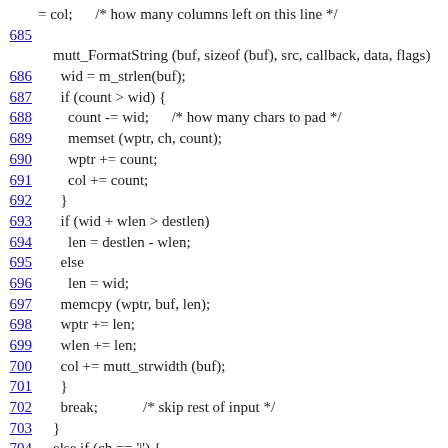= col;    /* how many columns left on this line */
685
    mutt_FormatString (buf, sizeof (buf), src, callback, data, flags)
686      wid = m_strlen(buf);
687      if (count > wid) {
688        count -= wid;    /* how many chars to pad */
689        memset (wptr, ch, count);
690        wptr += count;
691        col += count;
692      }
693      if (wid + wlen > destlen)
694        len = destlen - wlen;
695      else
696        len = wid;
697      memcpy (wptr, buf, len);
698      wptr += len;
699      wlen += len;
700      col += mutt_strwidth (buf);
701      }
702      break;            /* skip rest of input */
703    }
704    else if (ch == '|') {
705      /* pad to EOL */
706      ch = *src++;
707      if (destlen > COLS)